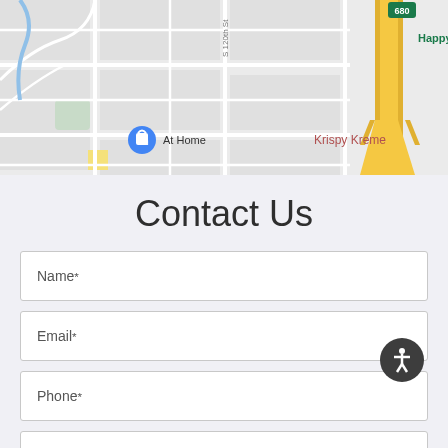[Figure (map): Google Maps screenshot showing a suburban area with street grid, S 120th St visible, At Home store marker with shopping bag icon in blue, Krispy Kreme label, highway 680 marker in top right corner, Happy label partially visible top right, yellow highway overlay on right side]
Contact Us
Name*
Email*
Phone*
Comments / Questions